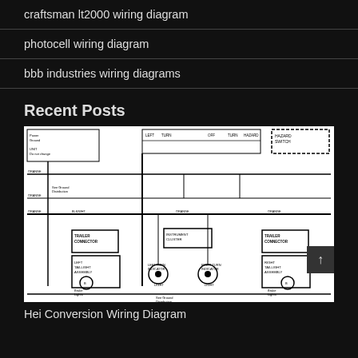craftsman lt2000 wiring diagram
photocell wiring diagram
bbb industries wiring diagrams
Recent Posts
[Figure (schematic): Hei Conversion Wiring Diagram - electrical schematic showing trailer connectors, turn signal indicator lights, instrument cluster, hazard switch, and associated wiring connections]
Hei Conversion Wiring Diagram